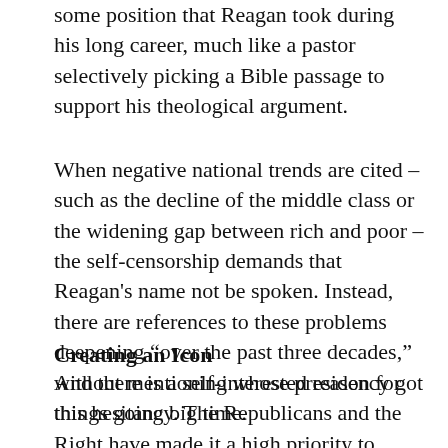some position that Reagan took during his long career, much like a pastor selectively picking a Bible passage to support his theological argument.
When negative national trends are cited – such as the decline of the middle class or the widening gap between rich and poor – the self-censorship demands that Reagan's name not be spoken. Instead, there are references to these problems deepening “over the past three decades,” without mentioning whose presidency got things going big time.
Creating an Icon
And there is a self-interested reason for this hesitancy. The Republicans and the Right have made it a high priority to transform Reagan into an icon and